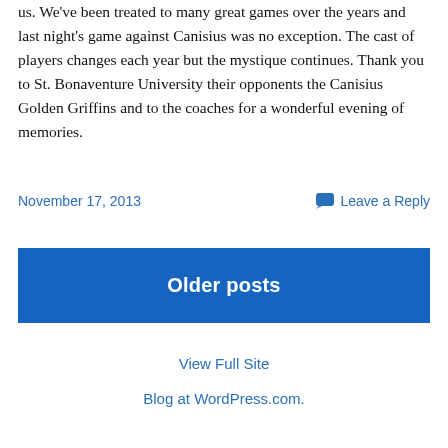us. We've been treated to many great games over the years and last night's game against Canisius was no exception. The cast of players changes each year but the mystique continues. Thank you to St. Bonaventure University their opponents the Canisius Golden Griffins and to the coaches for a wonderful evening of memories.
November 17, 2013
Leave a Reply
Older posts
View Full Site
Blog at WordPress.com.